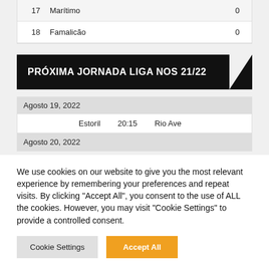| # | Team | Score |
| --- | --- | --- |
| 17 | Marítimo | 0 |
| 18 | Famalicão | 0 |
PRÓXIMA JORNADA LIGA NOS 21/22
| Date | Home | Time | Away |
| --- | --- | --- | --- |
| Agosto 19, 2022 |  |  |  |
|  | Estoril | 20:15 | Rio Ave |
| Agosto 20, 2022 |  |  |  |
We use cookies on our website to give you the most relevant experience by remembering your preferences and repeat visits. By clicking "Accept All", you consent to the use of ALL the cookies. However, you may visit "Cookie Settings" to provide a controlled consent.